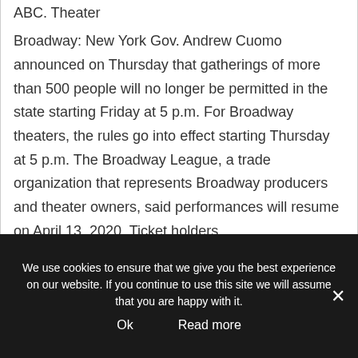ABC.
Theater
Broadway: New York Gov. Andrew Cuomo announced on Thursday that gatherings of more than 500 people will no longer be permitted in the state starting Friday at 5 p.m. For Broadway theaters, the rules go into effect starting Thursday at 5 p.m. The Broadway League, a trade organization that represents Broadway producers and theater owners, said performances will resume on April 13, 2020. Ticket holders
We use cookies to ensure that we give you the best experience on our website. If you continue to use this site we will assume that you are happy with it.
Ok
Read more